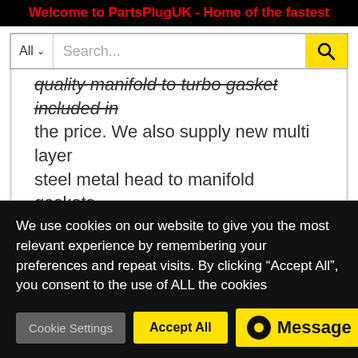Welcome to PartsPlugUK - Home of the fastest
[Figure (screenshot): Search bar with All dropdown, search input field and yellow search button]
quality manifold to turbo gasket included in the price. We also supply new multi layer steel metal head to manifold gaskets.
Available in a wide range of flange patterns including T3 open entry, T3 split pulse divided entry, T4 open, T4 split pulse divided. We can also supply 6Boost high performance race manifolds suitable for
We use cookies on our website to give you the most relevant experience by remembering your preferences and repeat visits. By clicking “Accept All”, you consent to the use of ALL the cookies
Cookie Settings | Accept All | Message